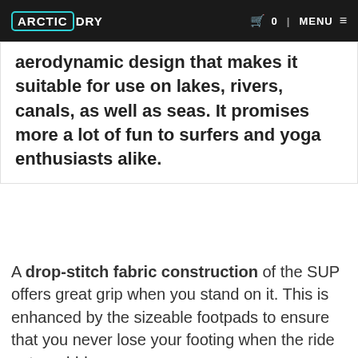ARCTIC DRY | 0 | MENU
aerodynamic design that makes it suitable for use on lakes, rivers, canals, as well as seas. It promises more a lot of fun to surfers and yoga enthusiasts alike.
A drop-stitch fabric construction of the SUP offers great grip when you stand on it. This is enhanced by the sizeable footpads to ensure that you never lose your footing when the ride gets wobbly.